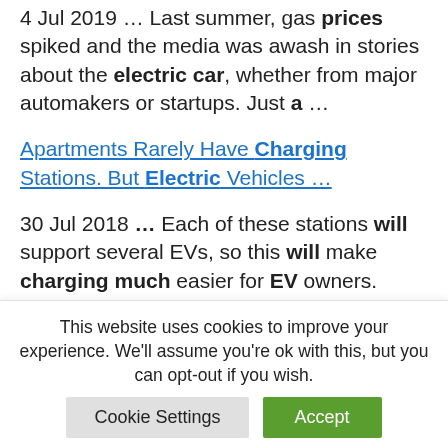4 Jul 2019 ... Last summer, gas prices spiked and the media was awash in stories about the electric car, whether from major automakers or startups. Just a ...
Apartments Rarely Have Charging Stations. But Electric Vehicles ...
30 Jul 2018 ... Each of these stations will support several EVs, so this will make charging much easier for EV owners. Much of this funding will
This website uses cookies to improve your experience. We'll assume you're ok with this, but you can opt-out if you wish.